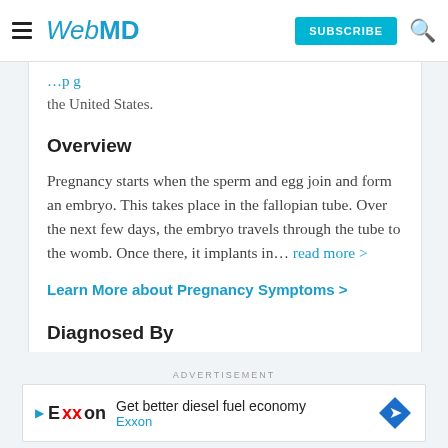WebMD — SUBSCRIBE
the United States.
Overview
Pregnancy starts when the sperm and egg join and form an embryo. This takes place in the fallopian tube. Over the next few days, the embryo travels through the tube to the womb. Once there, it implants in... read more >
Learn More about Pregnancy Symptoms >
Diagnosed By
ADVERTISEMENT
Get better diesel fuel economy Exxon